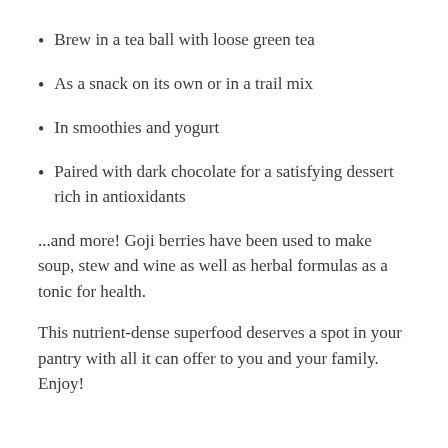Brew in a tea ball with loose green tea
As a snack on its own or in a trail mix
In smoothies and yogurt
Paired with dark chocolate for a satisfying dessert rich in antioxidants
...and more! Goji berries have been used to make soup, stew and wine as well as herbal formulas as a tonic for health.
This nutrient-dense superfood deserves a spot in your pantry with all it can offer to you and your family. Enjoy!